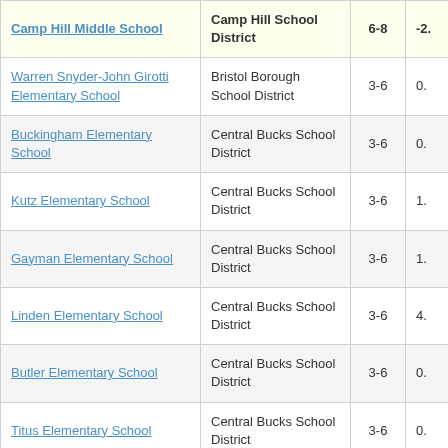| School | District | Grades | Value |
| --- | --- | --- | --- |
| Camp Hill Middle School | Camp Hill School District | 6-8 | -2. |
| Warren Snyder-John Girotti Elementary School | Bristol Borough School District | 3-6 | 0. |
| Buckingham Elementary School | Central Bucks School District | 3-6 | 0. |
| Kutz Elementary School | Central Bucks School District | 3-6 | 1. |
| Gayman Elementary School | Central Bucks School District | 3-6 | 1. |
| Linden Elementary School | Central Bucks School District | 3-6 | 4. |
| Butler Elementary School | Central Bucks School District | 3-6 | 0. |
| Titus Elementary School | Central Bucks School District | 3-6 | 0. |